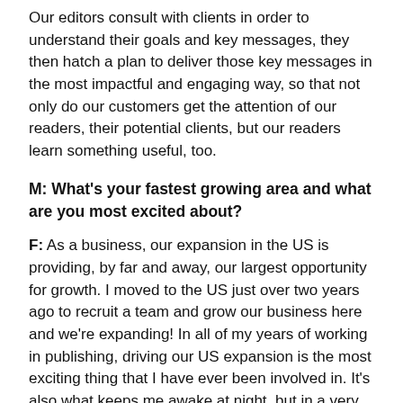Our editors consult with clients in order to understand their goals and key messages, they then hatch a plan to deliver those key messages in the most impactful and engaging way, so that not only do our customers get the attention of our readers, their potential clients, but our readers learn something useful, too.
M: What's your fastest growing area and what are you most excited about?
F: As a business, our expansion in the US is providing, by far and away, our largest opportunity for growth. I moved to the US just over two years ago to recruit a team and grow our business here and we're expanding! In all of my years of working in publishing, driving our US expansion is the most exciting thing that I have ever been involved in. It's also what keeps me awake at night, but in a very good way.